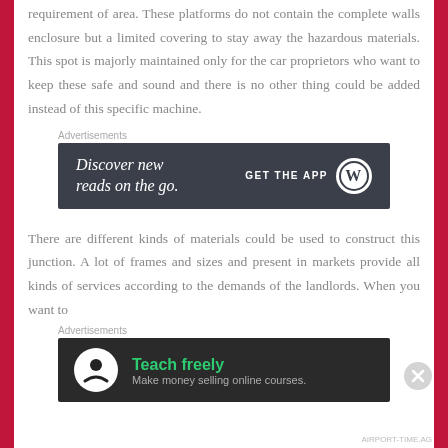requirement of area. These platforms do not contain the complete walls enclosure but a limited covering to stay away the hazardous materials. This spot is majorly maintained only for the car proprietors who want to keep these safe and sound and there is no other thing could be added instead of this specific machine.
[Figure (screenshot): Advertisement banner: dark background with text 'Discover new reads on the go.' and 'GET THE APP' with WordPress logo]
There are different kinds of materials could be used to construct this junction. A lot of frames and sizes and present in markets provide all kinds of services according to the demands of the landlords. When you want to
[Figure (screenshot): Advertisement banner: dark background with Teachable logo, text 'Teach freely' in green and 'Make money selling online courses.' in grey]